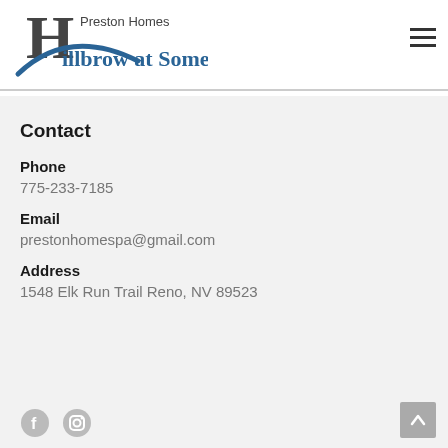[Figure (logo): Preston Homes – Hillbrow at Somersett logo with stylized H letter in dark and blue tones]
Contact
Phone
775-233-7185
Email
prestonhomespa@gmail.com
Address
1548 Elk Run Trail Reno, NV 89523